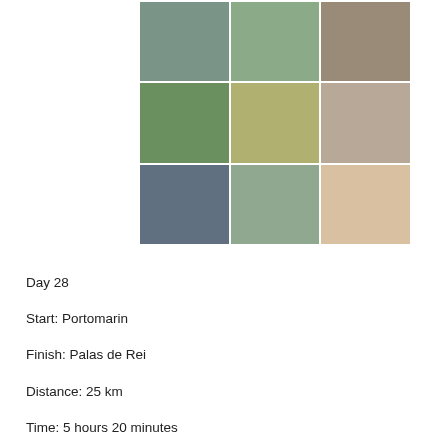[Figure (photo): A 3x3 grid of travel/hiking photos showing: a bowl with liquid, a road/path, a tree-lined path, a garden scene, a Camino de Santiago waymarker with backpack, a pair of worn sneakers, a man outdoors with equipment, a stone waymarker pillar, and hands holding items/money.]
Day 28
Start: Portomarin
Finish: Palas de Rei
Distance: 25 km
Time: 5 hours 20 minutes
Accommodation: €10
Food: €13